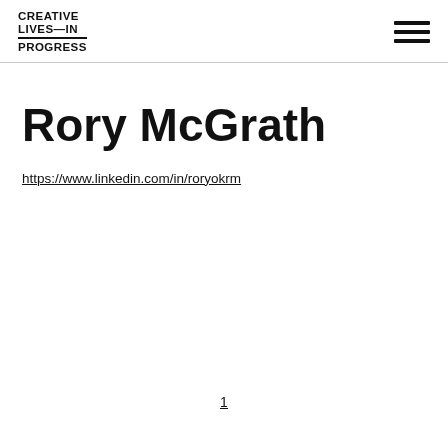CREATIVE LIVES—IN PROGRESS
Rory McGrath
https://www.linkedin.com/in/roryokrm
1